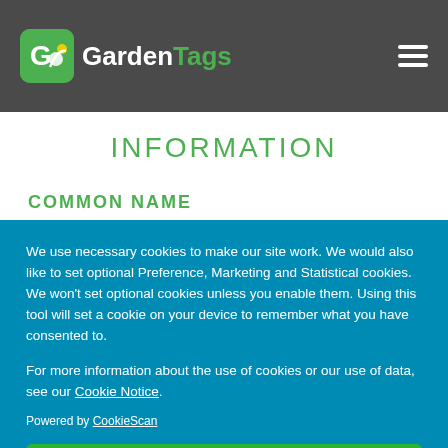GardenTags
INFORMATION
COMMON NAME
We use necessary cookies to make our site work. We would also like to set optional Preference, Marketing and Statistical cookies. We won't set optional cookies unless you enable them. Using this tool will set a cookie on your device to remember what you have consented to.

For more information about the use of cookies or our use of data, see our Cookie Notice.

Powered by CookieScan
Allow All Cookies and Reload
Or Select Your Own Preferences